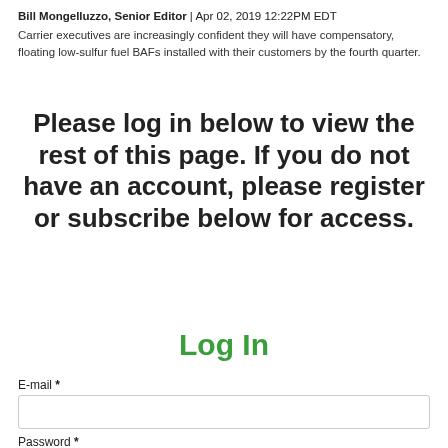Bill Mongelluzzo, Senior Editor | Apr 02, 2019 12:22PM EDT
Carrier executives are increasingly confident they will have compensatory, floating low-sulfur fuel BAFs installed with their customers by the fourth quarter.
Please log in below to view the rest of this page. If you do not have an account, please register or subscribe below for access.
Log In
E-mail *
Password *